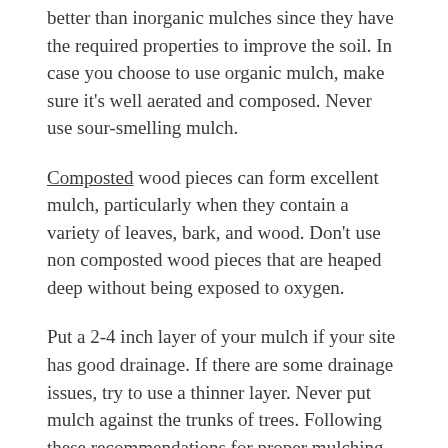In most cases, organic mulches are considered to be better than inorganic mulches since they have the required properties to improve the soil. In case you choose to use organic mulch, make sure it's well aerated and composed. Never use sour-smelling mulch.
Composted wood pieces can form excellent mulch, particularly when they contain a variety of leaves, bark, and wood. Don't use non composted wood pieces that are heaped deep without being exposed to oxygen.
Put a 2-4 inch layer of your mulch if your site has good drainage. If there are some drainage issues, try to use a thinner layer. Never put mulch against the trunks of trees. Following these recommendations for proper mulching techniques will lead to successful plant maintenance and growth.